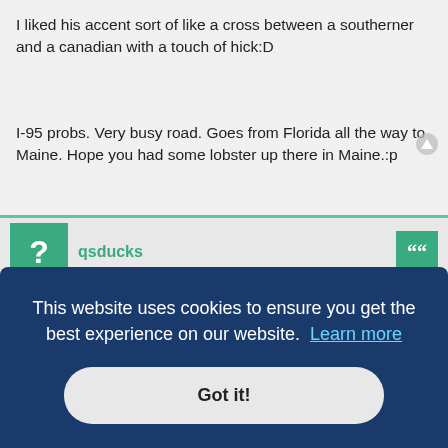I liked his accent sort of like a cross between a southerner and a canadian with a touch of hick:D
I-95 probs. Very busy road. Goes from Florida all the way to Maine. Hope you had some lobster up there in Maine.:p
qsducks
Photos for FG members video needed!
Tue Jul 29, 2008 6:24 am
My brother & SIL and neice & nephew live up in Machias for the summer and go back to Mexico in the fall. Brother can't take the cold as he broke his back years ago and the cold bothers him.
This website uses cookies to ensure you get the best experience on our website. Learn more
Got it!